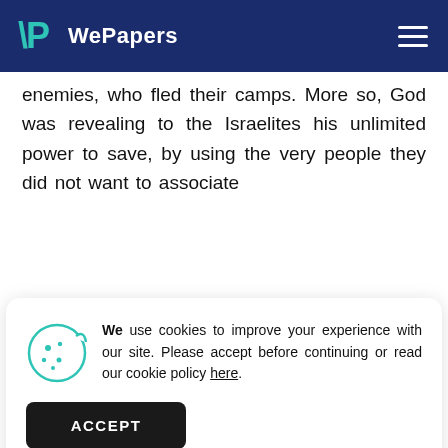WePapers
enemies, who fled their camps. More so, God was revealing to the Israelites his unlimited power to save, by using the very people they did not want to associate
We use cookies to improve your experience with our site. Please accept before continuing or read our cookie policy here.
would have imagined that God would use those who have been rejected by society t deliver the Israelites from captivity. The only ingredient that God looks at when he wants to sue a person is not their physical or